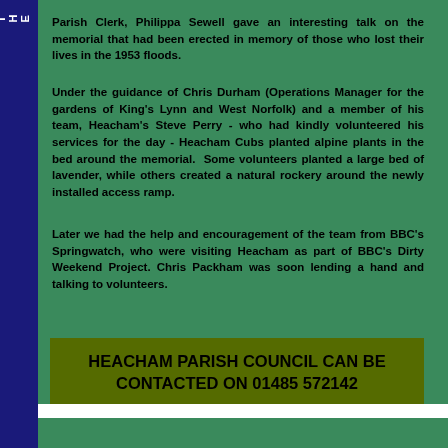WELCOME TO THE SUNSET COAST
Parish Clerk, Philippa Sewell gave an interesting talk on the memorial that had been erected in memory of those who lost their lives in the 1953 floods.
Under the guidance of Chris Durham (Operations Manager for the gardens of King's Lynn and West Norfolk) and a member of his team, Heacham's Steve Perry - who had kindly volunteered his services for the day - Heacham Cubs planted alpine plants in the bed around the memorial. Some volunteers planted a large bed of lavender, while others created a natural rockery around the newly installed access ramp.
Later we had the help and encouragement of the team from BBC's Springwatch, who were visiting Heacham as part of BBC's Dirty Weekend Project. Chris Packham was soon lending a hand and talking to volunteers.
HEACHAM PARISH COUNCIL CAN BE CONTACTED ON 01485 572142
Top